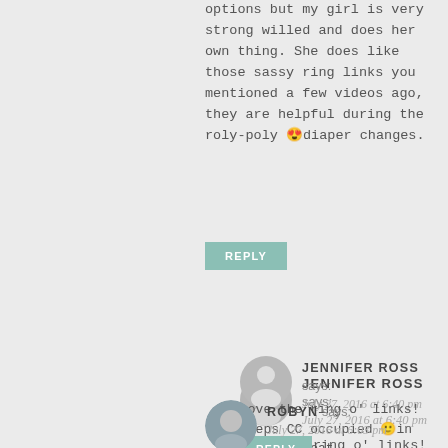options but my girl is very strong willed and does her own thing. She does like those sassy ring links you mentioned a few videos ago, they are helpful during the roly-poly 😊 diaper changes.
REPLY
JENNIFER ROSS says:
July 27, 2016 at 6:40 pm
Love the ring o' links! Keeps CC occupied 🙂 in the car seat
REPLY
ROBYN says:
July 27, 2016 at 6:03 pm